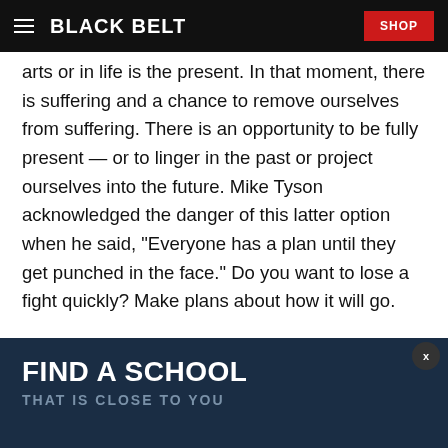BLACK BELT | SHOP
arts or in life is the present. In that moment, there is suffering and a chance to remove ourselves from suffering. There is an opportunity to be fully present — or to linger in the past or project ourselves into the future. Mike Tyson acknowledged the danger of this latter option when he said, "Everyone has a plan until they get punched in the face." Do you want to lose a fight quickly? Make plans about how it will go.
FIND A SCHOOL — THAT IS CLOSE TO YOU